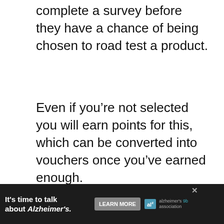complete a survey before they have a chance of being chosen to road test a product.
Even if you’re not selected you will earn points for this, which can be converted into vouchers once you’ve earned enough.
Panel members will need to be 18 or over, and you must have a Tesco Clubcard in order to apply.
5. Philips Product Testers